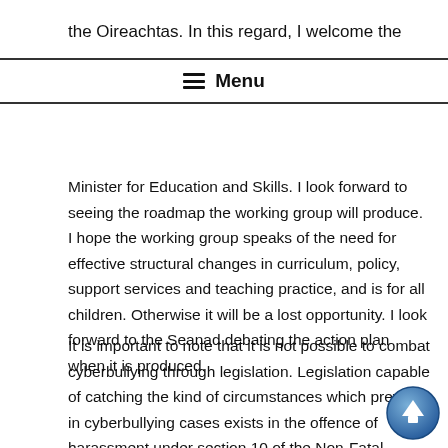the Oireachtas. In this regard, I welcome the
≡ Menu
Minister for Education and Skills. I look forward to seeing the roadmap the working group will produce. I hope the working group speaks of the need for effective structural changes in curriculum, policy, support services and teaching practice, and is for all children. Otherwise it will be a lost opportunity. I look forward to the Seanad debating the action plan when it is produced.
It is important to note that it is not possible to combat cyberbullying through legislation. Legislation capable of catching the kind of circumstances which prevail in cyberbullying cases exists in the offence of harassment under section 10 of the Non-Fatal Offences Against the Person Act 1997. This point is well made in a recent legal comment by Fergal Crohan, BL, who noted that "laws can